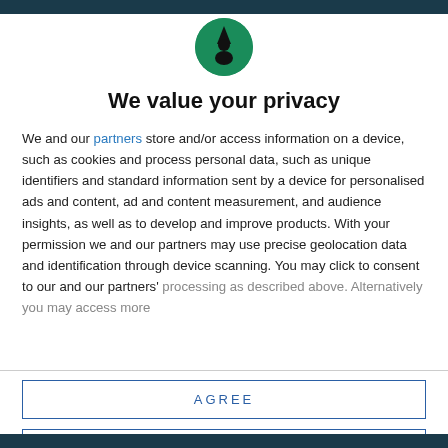[Figure (logo): Circular green logo with a black silhouette of a figure (person with hat) in the center]
We value your privacy
We and our partners store and/or access information on a device, such as cookies and process personal data, such as unique identifiers and standard information sent by a device for personalised ads and content, ad and content measurement, and audience insights, as well as to develop and improve products. With your permission we and our partners may use precise geolocation data and identification through device scanning. You may click to consent to our and our partners' processing as described above. Alternatively you may access more
AGREE
MORE OPTIONS